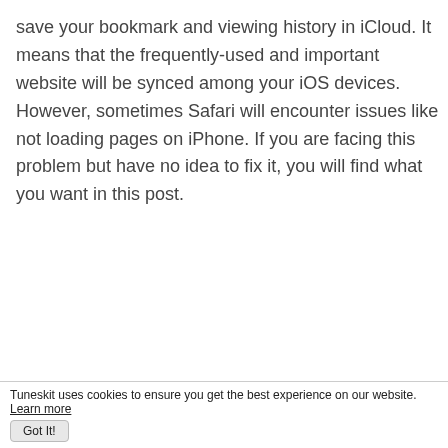save your bookmark and viewing history in iCloud. It means that the frequently-used and important website will be synced among your iOS devices. However, sometimes Safari will encounter issues like not loading pages on iPhone. If you are facing this problem but have no idea to fix it, you will find what you want in this post.
[Figure (screenshot): Safari browser icon (compass with red and white needle on blue background) followed by error message text 'Safari cannot open the page because too many redirects occurred']
Tuneskit uses cookies to ensure you get the best experience on our website. Learn more Got It!